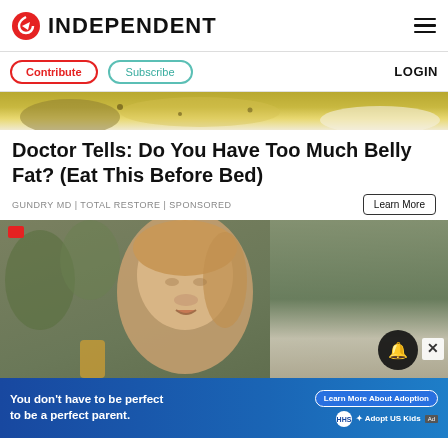INDEPENDENT
Contribute | Subscribe | LOGIN
[Figure (photo): Top cropped image of food item with yellow/brown coloring]
Doctor Tells: Do You Have Too Much Belly Fat? (Eat This Before Bed)
GUNDRY MD | TOTAL RESTORE | Sponsored
[Figure (screenshot): Video still of a young woman speaking outdoors, with trees and a white van visible in background. Red recording indicator dot in top left. Bell notification icon and X close button visible.]
[Figure (other): Ad banner: You don't have to be perfect to be a perfect parent. Learn More About Adoption. Adopt US Kids logo. HHS.]